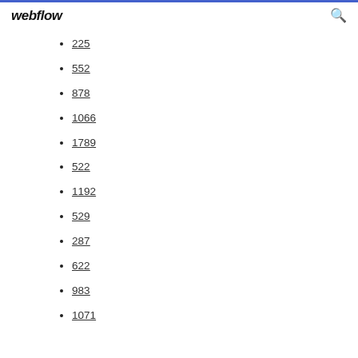webflow
225
552
878
1066
1789
522
1192
529
287
622
983
1071